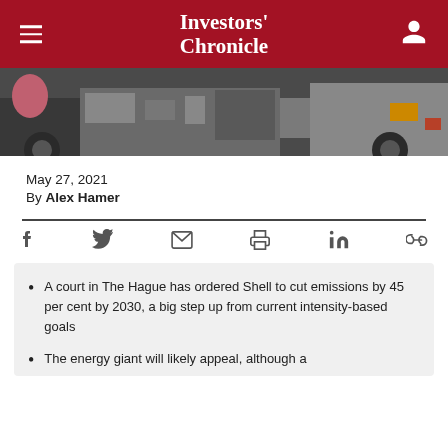Investors' Chronicle
[Figure (photo): A photo showing industrial/truck equipment in the background, partially visible]
May 27, 2021
By Alex Hamer
A court in The Hague has ordered Shell to cut emissions by 45 per cent by 2030, a big step up from current intensity-based goals
The energy giant will likely appeal, although a